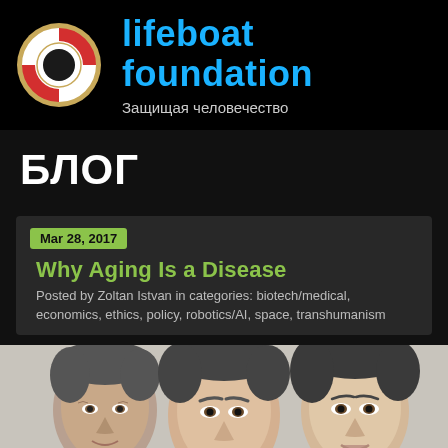lifeboat foundation — Защищая человечество
БЛОГ
Mar 28, 2017
Why Aging Is a Disease
Posted by Zoltan Istvan in categories: biotech/medical, economics, ethics, policy, robotics/AI, space, transhumanism
[Figure (photo): Three faces of women showing different ages of the same person or different individuals, representing aging progression, with light backgrounds and close-up portrait style]